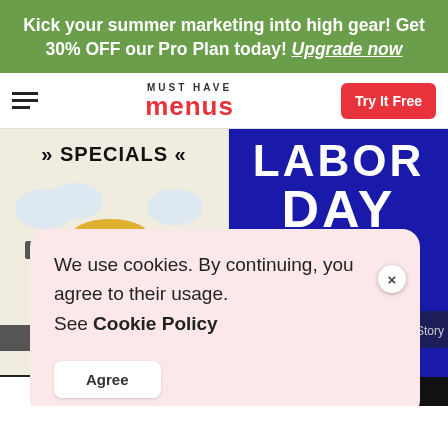Kick your summer marketing into high gear! Get 30% OFF our Pro Plan today! Upgrade now
[Figure (logo): Must Have Menus logo with hamburger menu icon and Try It Free red button]
[Figure (screenshot): Left thumbnail showing Specials menu card for BellyBistro.com with food illustration]
[Figure (screenshot): Right thumbnail showing Labor Day menu card in blue with yellow script text]
We use cookies. By continuing, you agree to their usage. See Cookie Policy
Agree